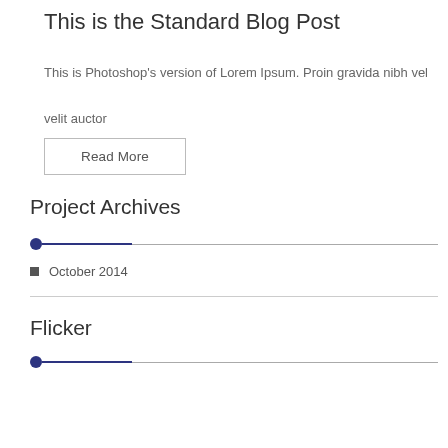This is the Standard Blog Post
This is Photoshop's version of Lorem Ipsum. Proin gravida nibh vel velit auctor
Read More
Project Archives
October 2014
Flicker